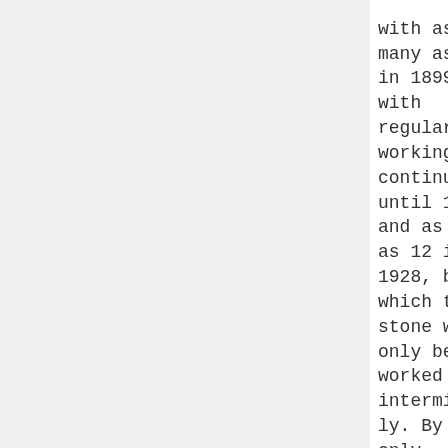with as many as 225 in 1899, with regular working continuing until 1914, and as few as 12 in 1928, by which time stone was only being worked intermittently. By 1931 only mudstone for brick-making was
with as many as 225 in 1899, with regular working continuing until 1914, and as few as 12 in 1928, by which time stone was only being worked intermittently. By 1931 only mudstone for brick-making was